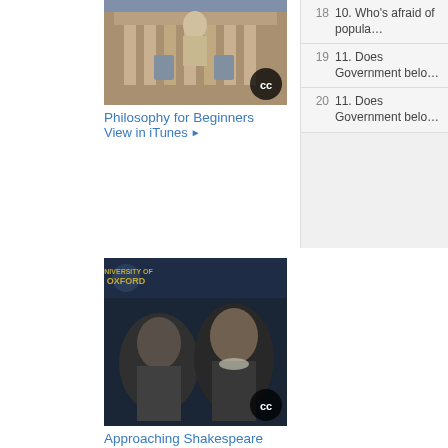[Figure (photo): Philosophy for Beginners course thumbnail - building facade with sculptures, CC badge]
Philosophy for Beginners
View in iTunes ▶
[Figure (photo): Approaching Shakespeare course thumbnail - University of Oxford branded image with historical portraits, CC badge]
Approaching Shakespeare
View in iTunes ▶
[Figure (photo): The New Psychology of Depressi... course thumbnail - University of Oxford branded image with driftwood beach scene, CC badge]
The New Psychology of Depressi…
View in iTunes ▶
[Figure (photo): University of Oxford branded course thumbnail - galaxy/spiral image]
| # | Track |
| --- | --- |
| 18 | 10. Who's afraid of popula… |
| 19 | 11. Does Government belo… |
| 20 | 11. Does Government belo… |